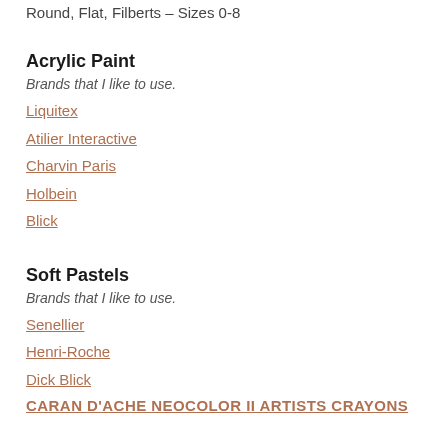Round, Flat, Filberts – Sizes 0-8
Acrylic Paint
Brands that I like to use.
Liquitex
Atilier Interactive
Charvin Paris
Holbein
Blick
Soft Pastels
Brands that I like to use.
Senellier
Henri-Roche
Dick Blick
CARAN D'ACHE NEOCOLOR II ARTISTS CRAYONS